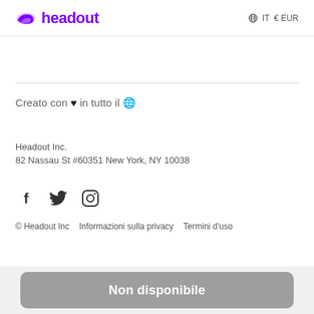headout  IT  €EUR
Creato con ♥ in tutto il 🌍
Headout Inc.
82 Nassau St #60351 New York, NY 10038
[Figure (illustration): Social media icons: Facebook, Twitter, Instagram]
© Headout Inc   Informazioni sulla privacy   Termini d'uso
Non disponibile